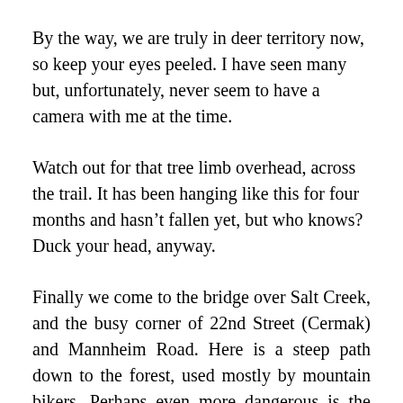By the way, we are truly in deer territory now, so keep your eyes peeled. I have seen many but, unfortunately, never seem to have a camera with me at the time.
Watch out for that tree limb overhead, across the trail. It has been hanging like this for four months and hasn't fallen yet, but who knows? Duck your head, anyway.
Finally we come to the bridge over Salt Creek, and the busy corner of 22nd Street (Cermak) and Mannheim Road. Here is a steep path down to the forest, used mostly by mountain bikers. Perhaps even more dangerous is the auto and truck traffic. Cross Mannheim quickly, watching for autos turning left. Some people on the trail just turn around and go back